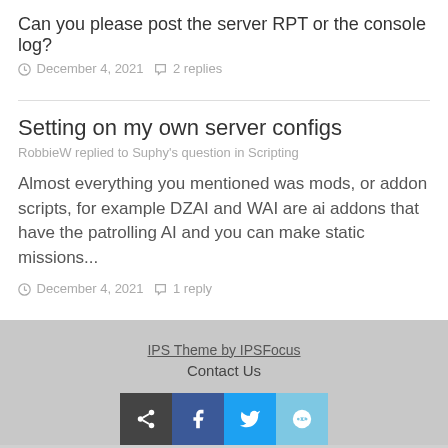Can you please post the server RPT or the console log?
December 4, 2021  2 replies
Setting on my own server configs
RobbieW replied to Suphy's question in Scripting
Almost everything you mentioned was mods, or addon scripts, for example DZAI and WAI are ai addons that have the patrolling AI and you can make static missions...
December 4, 2021  1 reply
IPS Theme by IPSFocus
Contact Us